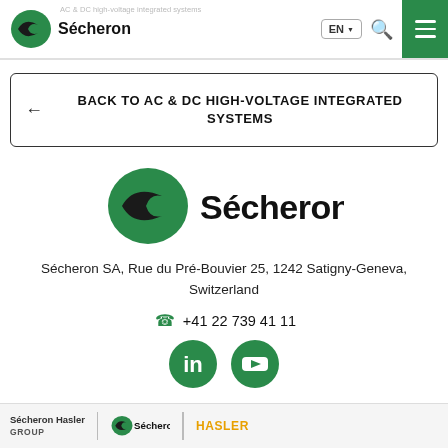AC & DC high-voltage integrated systems | Sécheron | EN
← BACK TO AC & DC HIGH-VOLTAGE INTEGRATED SYSTEMS
[Figure (logo): Sécheron company logo with green swoosh emblem and bold 'Sécheron' text]
Sécheron SA, Rue du Pré-Bouvier 25, 1242 Satigny-Geneva, Switzerland
+41 22 739 41 11
[Figure (other): LinkedIn and YouTube social media icons in green circles]
Sécheron Hasler GROUP